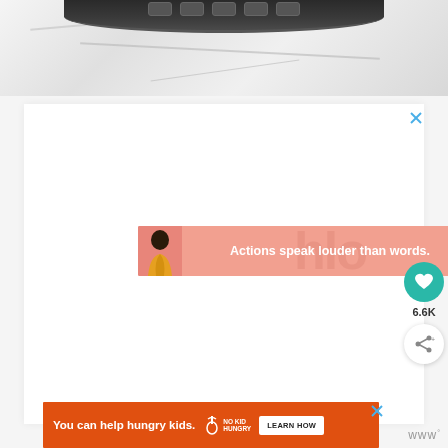[Figure (photo): Top portion of an Instant Pot pressure cooker on a white marble surface, showing the dark lid with control buttons visible at the top edge of the image]
[Figure (screenshot): Advertisement banner with salmon/pink background showing a person in a yellow jacket with text 'Actions speak louder than words.' and a close X button]
[Figure (screenshot): Floating action buttons on right side: teal heart/favorite button, 6.6K count label, and a white share button with plus icon]
[Figure (screenshot): Orange advertisement banner at bottom: 'You can help hungry kids.' with No Kid Hungry logo and LEARN HOW button, plus close X button. Watermark logo 'www°' at bottom right.]